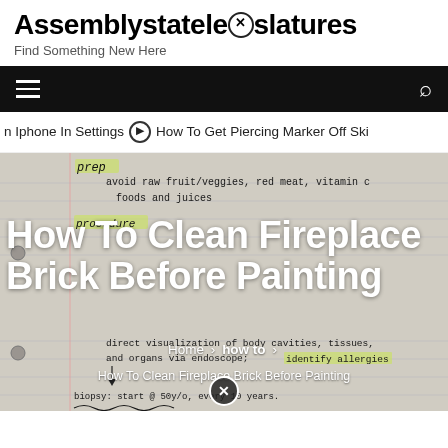Assemblystatele⊗slatures
Find Something New Here
[Figure (screenshot): Black navigation bar with hamburger menu icon on left and search icon on right]
n Iphone In Settings  ⊙  How To Get Piercing Marker Off Ski
[Figure (photo): Handwritten medical notebook notes with highlighted text, showing prep instructions about avoiding raw fruit/veggies, red meat, vitamin C foods and juices; procedure notes about direct visualization of body cavities, tissues, and organs via endoscope; identify allergies; biopsy start at 50 y/o every 10 years]
How To Clean Fireplace Brick Before Painting
Home > how to >
How To Clean Fireplace Brick Before Painting